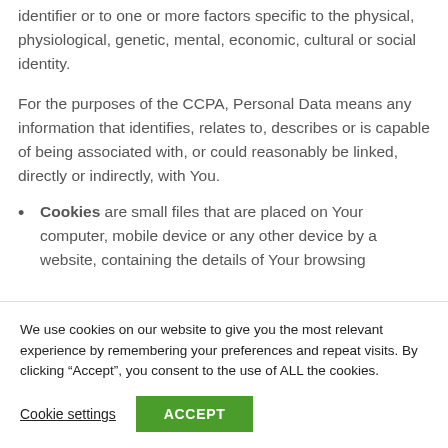identifier or to one or more factors specific to the physical, physiological, genetic, mental, economic, cultural or social identity.
For the purposes of the CCPA, Personal Data means any information that identifies, relates to, describes or is capable of being associated with, or could reasonably be linked, directly or indirectly, with You.
Cookies are small files that are placed on Your computer, mobile device or any other device by a website, containing the details of Your browsing...
We use cookies on our website to give you the most relevant experience by remembering your preferences and repeat visits. By clicking “Accept”, you consent to the use of ALL the cookies.